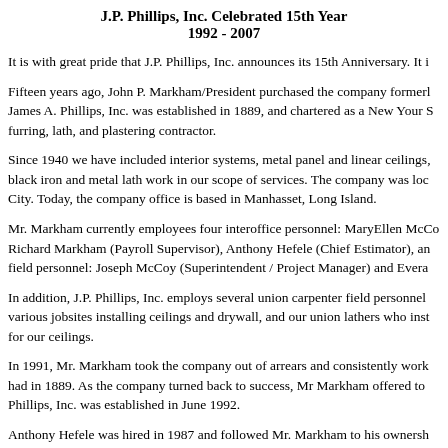J.P. Phillips, Inc. Celebrated 15th Year 1992 - 2007
It is with great pride that J.P. Phillips, Inc. announces its 15th Anniversary. It i
Fifteen years ago, John P. Markham/President purchased the company formerl James A. Phillips, Inc. was established in 1889, and chartered as a New Your S furring, lath, and plastering contractor.
Since 1940 we have included interior systems, metal panel and linear ceilings, black iron and metal lath work in our scope of services. The company was loc City. Today, the company office is based in Manhasset, Long Island.
Mr. Markham currently employees four interoffice personnel: MaryEllen McCo Richard Markham (Payroll Supervisor), Anthony Hefele (Chief Estimator), an field personnel: Joseph McCoy (Superintendent / Project Manager) and Evera
In addition, J.P. Phillips, Inc. employs several union carpenter field personnel various jobsites installing ceilings and drywall, and our union lathers who inst for our ceilings.
In 1991, Mr. Markham took the company out of arrears and consistently work had in 1889. As the company turned back to success, Mr Markham offered to Phillips, Inc. was established in June 1992.
Anthony Hefele was hired in 1987 and followed Mr. Markham to his ownersh now Estimator) was hired in 1991 and also rolled over his employment to the Phillips, Inc. steadily grew over the next few years, and Mr. Markham needed office. In November, 1996 the first woman was hired: MaryEllen McCloskey